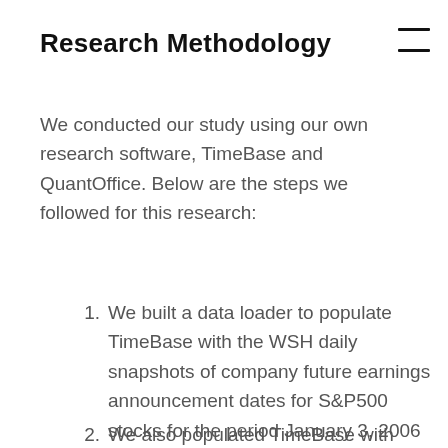Research Methodology
We conducted our study using our own research software, TimeBase and QuantOffice. Below are the steps we followed for this research:
We built a data loader to populate TimeBase with the WSH daily snapshots of company future earnings announcement dates for S&P500 stocks for the period January 3, 2006 to September 2, 2015.
We also populated TimeBase with